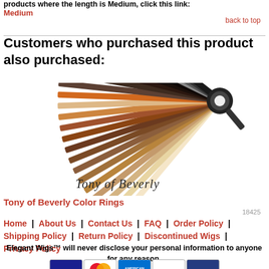products where the length is Medium, click this link: Medium
back to top
Customers who purchased this product also purchased:
[Figure (photo): Tony of Beverly color ring swatch fan showing multiple hair colors with a black disc clasp, branded with cursive Tony of Beverly signature]
Tony of Beverly Color Rings
18425
Home | About Us | Contact Us | FAQ | Order Policy | Shipping Policy | Return Policy | Discontinued Wigs | Privacy Policy
Elegant Wigs™ will never disclose your personal information to anyone for any reason.
[Figure (other): Payment method logos: Visa, MasterCard, American Express, Discover, PayPal]